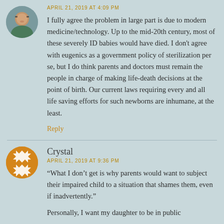[Figure (photo): Circular avatar photo of a woman with glasses outdoors]
APRIL 21, 2019 AT 4:09 PM
I fully agree the problem in large part is due to modern medicine/technology. Up to the mid-20th century, most of these severely ID babies would have died. I don't agree with eugenics as a government policy of sterilization per se, but I do think parents and doctors must remain the people in charge of making life-death decisions at the point of birth. Our current laws requiring every and all life saving efforts for such newborns are inhumane, at the least.
Reply
Crystal
[Figure (logo): Orange decorative circular pattern avatar for user Crystal]
APRIL 21, 2019 AT 9:36 PM
“What I don’t get is why parents would want to subject their impaired child to a situation that shames them, even if inadvertently.”
Personally, I want my daughter to be in public